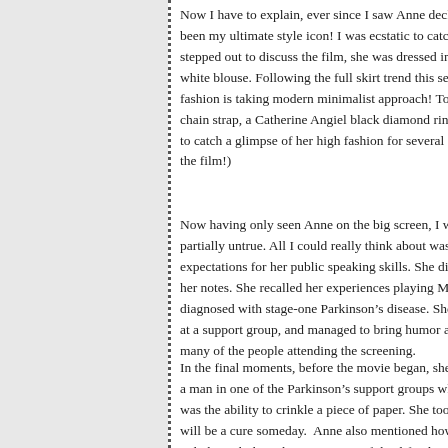Now I have to explain, ever since I saw Anne decked out in Cha... been my ultimate style icon! I was ecstatic to catch a glimpse of w... stepped out to discuss the film, she was dressed in a Ferragamo p... white blouse. Following the full skirt trend this season, she was th... fashion is taking modern minimalist approach! To complete the lo... chain strap, a Catherine Angiel black diamond ring, and bright re... to catch a glimpse of her high fashion for several minutes, as her ... the film!)
Now having only seen Anne on the big screen, I wasn't quite sure... partially untrue. All I could really think about was her final speec... expectations for her public speaking skills. She did not disappoin... her notes. She recalled her experiences playing Maggie, her chara... diagnosed with stage-one Parkinson's disease. She told stories of... at a support group, and managed to bring humor and lightheartednes... many of the people attending the screening.
In the final moments, before the movie began, she looked around... a man in one of the Parkinson's support groups who said one of th... was the ability to crinkle a piece of paper. She took a piece of pap... will be a cure someday.  Anne also mentioned how important this... only brought hope but awareness of this life-altering disease. —L...